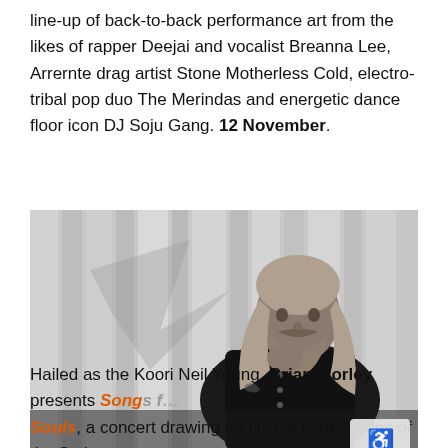line-up of back-to-back performance art from the likes of rapper Deejai and vocalist Breanna Lee, Arrernte drag artist Stone Motherless Cold, electro-tribal pop duo The Merindas and energetic dance floor icon DJ Soju Gang. 12 November.
[Figure (photo): Black and white photograph of an older man with long grey hair and a beard, wearing a dark jacket, sitting in a contemplative pose with his hand near his chin. Background shows corrugated or pleated material.]
Hailed as the Koori Neil Young, Brian Morley presents Songs for Souls, a concert drawing on his life experiences of the Stole...